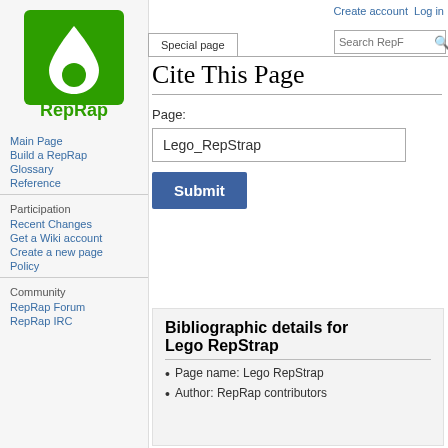[Figure (logo): RepRap logo: green square with white droplet/teardrop shape, text RepRap below]
Main Page
Build a RepRap
Glossary
Reference
Participation
Recent Changes
Get a Wiki account
Create a new page
Policy
Community
RepRap Forum
RepRap IRC
Create account   Log in
Cite This Page
Page:
Lego_RepStrap
Bibliographic details for Lego RepStrap
Page name: Lego RepStrap
Author: RepRap contributors